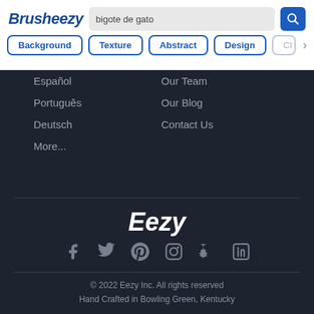[Figure (logo): Brusheezy logo in bold italic dark blue]
bigote de gato
Background
Texture
Abstract
Design
Español
Our Team
Português
Our Blog
Deutsch
Contact Us
More...
[Figure (logo): Eezy logo in white bold italic]
[Figure (infographic): Social media icons: Facebook, Twitter, Pinterest, Instagram, Snapchat, LinkedIn]
© 2022 Eezy Inc. All rights reserved
Hand Crafted in Bowling Green, Kentucky